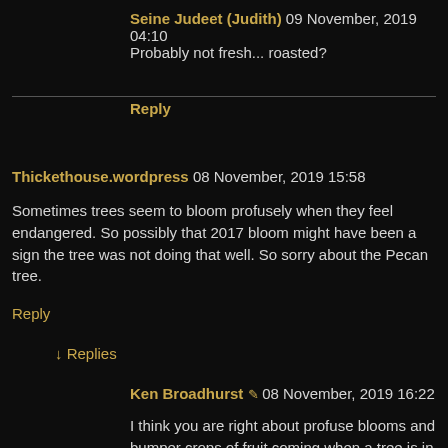Seine Judeet (Judith) 09 November, 2019 04:10
Probably not fresh... roasted?
Reply
Thickethouse.wordpress 08 November, 2019 15:58
Sometimes trees seem to bloom profusely when they feel endangered. So possibly that 2017 bloom might have been a sign the tree was not doing that well. So sorry about the Pecan tree.
Reply
Replies
Ken Broadhurst 08 November, 2019 16:22
I think you are right about profuse blooms and bumper crops of fruit coming when a tree is in decline. When our two plum trees were uprooted